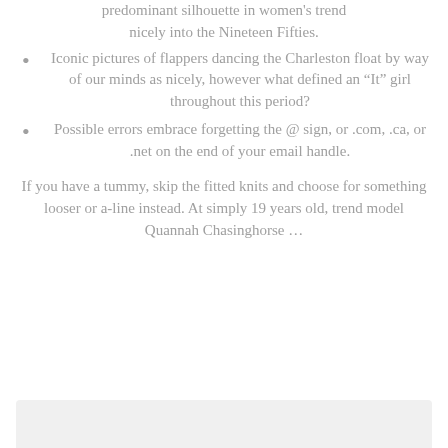predominant silhouette in women's trend nicely into the Nineteen Fifties.
Iconic pictures of flappers dancing the Charleston float by way of our minds as nicely, however what defined an “It” girl throughout this period?
Possible errors embrace forgetting the @ sign, or .com, .ca, or .net on the end of your email handle.
If you have a tummy, skip the fitted knits and choose for something looser or a-line instead. At simply 19 years old, trend model Quannah Chasinghorse …